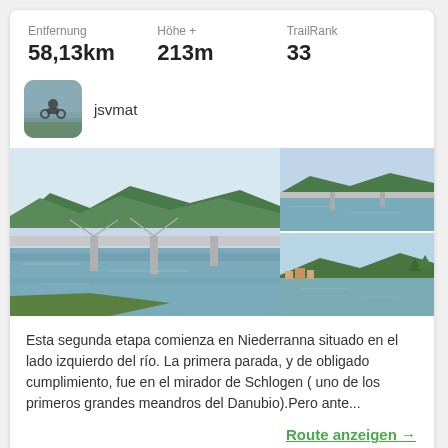Entfernung: 58,13km | Höhe +: 213m | TrailRank: 33
jsvmat
[Figure (photo): Main photo of a bridge over a wide river with forested hills in the background, blue sky. Two smaller photos on the right showing similar river and bridge/landscape scenes.]
Esta segunda etapa comienza en Niederranna situado en el lado izquierdo del río. La primera parada, y de obligado cumplimiento, fue en el mirador de Schlogen ( uno de los primeros grandes meandros del Danubio).Pero ante...
Route anzeigen →